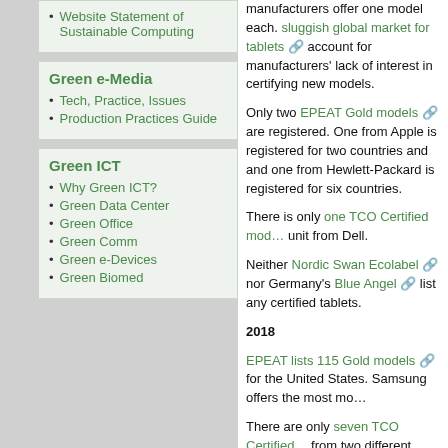Website Statement of Sustainable Computing
Green e-Media
Tech, Practice, Issues
Production Practices Guide
Green ICT
Why Green ICT?
Green Data Center
Green Office
Green Comm
Green e-Devices
Green Biomed
manufacturers offer one model each. sluggish global market for tablets account for manufacturers' lack of interest in certifying new models.
Only two EPEAT Gold models are registered. One from Apple is registered for two countries and and one from Hewlett-Packard is registered for six countries.
There is only one TCO Certified model, a unit from Dell.
Neither Nordic Swan Ecolabel nor Germany's Blue Angel list any certified tablets.
2018
EPEAT lists 115 Gold models for the United States. Samsung offers the most models.
There are only seven TCO Certified models from two different manufacturers. Notable from Samsung, which had five TCO certified models in 2014 and currently offers 10 EPEAT Gold models for the USA.
Nordic Swan Ecolabel does not appear to certify any tablets. On the